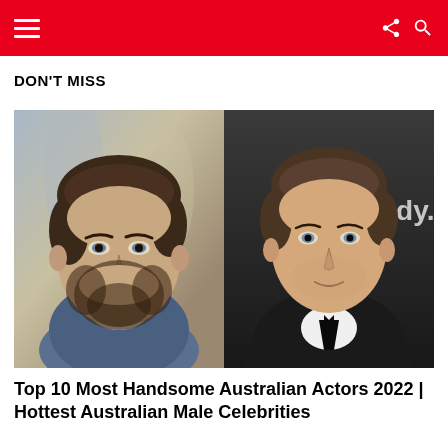Navigation header bar with hamburger menu, share icon, and search icon
DON'T MISS
[Figure (photo): Two side-by-side photos of a young male actor with brown hair — left photo shows him with beard in casual blue jacket, right photo shows him clean-shaven in a black suit with tie at a formal event, with partial 'ndy.' text visible on background signage]
Top 10 Most Handsome Australian Actors 2022 | Hottest Australian Male Celebrities